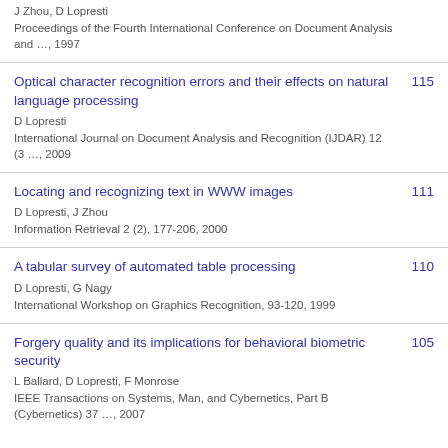J Zhou, D Lopresti
Proceedings of the Fourth International Conference on Document Analysis and …, 1997
Optical character recognition errors and their effects on natural language processing
D Lopresti
International Journal on Document Analysis and Recognition (IJDAR) 12 (3 …, 2009
115
Locating and recognizing text in WWW images
D Lopresti, J Zhou
Information Retrieval 2 (2), 177-206, 2000
111
A tabular survey of automated table processing
D Lopresti, G Nagy
International Workshop on Graphics Recognition, 93-120, 1999
110
Forgery quality and its implications for behavioral biometric security
L Ballard, D Lopresti, F Monrose
IEEE Transactions on Systems, Man, and Cybernetics, Part B (Cybernetics) 37 …, 2007
105